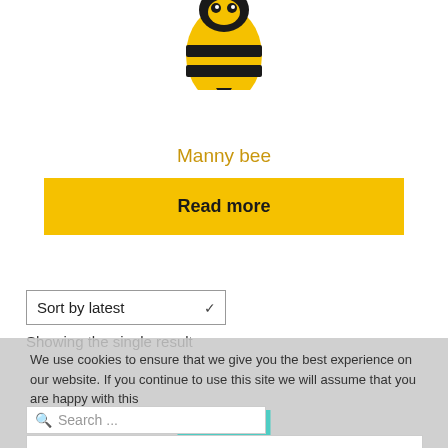[Figure (illustration): Partial image of a cartoon bee (Manny bee) - black and yellow bee visible at top, cropped]
Manny bee
Read more
Sort by latest
Showing the single result
We use cookies to ensure that we give you the best experience on our website. If you continue to use this site we will assume that you are happy with this
OK
Search ...